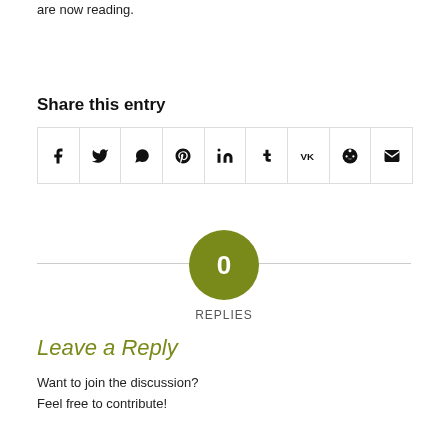are now reading.
Share this entry
[Figure (other): Social sharing icon buttons: Facebook, Twitter, WhatsApp, Pinterest, LinkedIn, Tumblr, VK, Reddit, Email]
0 REPLIES
Leave a Reply
Want to join the discussion?
Feel free to contribute!